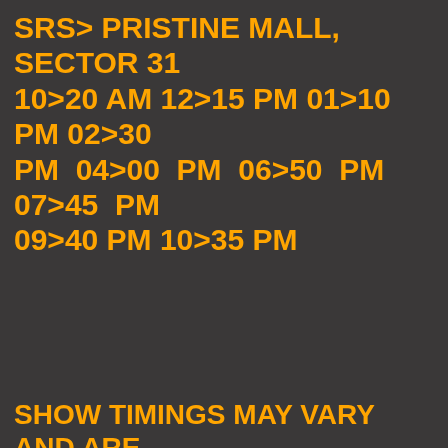SRS> PRISTINE MALL, SECTOR 31 10>20 AM 12>15 PM 01>10 PM 02>30 PM 04>00 PM 06>50 PM 07>45 PM 09>40 PM 10>35 PM
SHOW TIMINGS MAY VARY AND ARE SUBJECT TO CHANGE
<<<<<<<<---------->>>>>>>>>>
MORE THEATRES WILL BE UPDATED SHORTLY